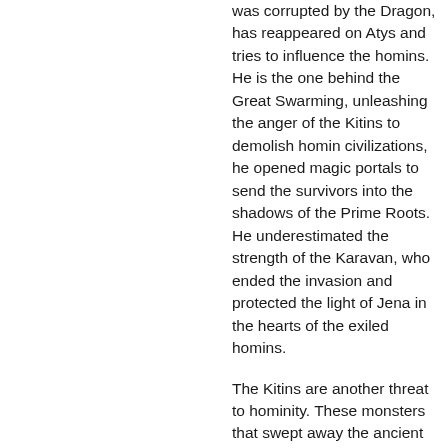was corrupted by the Dragon, has reappeared on Atys and tries to influence the homins. He is the one behind the Great Swarming, unleashing the anger of the Kitins to demolish homin civilizations, he opened magic portals to send the survivors into the shadows of the Prime Roots. He underestimated the strength of the Karavan, who ended the invasion and protected the light of Jena in the hearts of the exiled homins.
The Kitins are another threat to hominity. These monsters that swept away the ancient civilizations during the Great Swarming were born of the scales of the Dragon. They prospered in the depths of Atys before spreading out over the Bark. The Karavan keep an eye on the